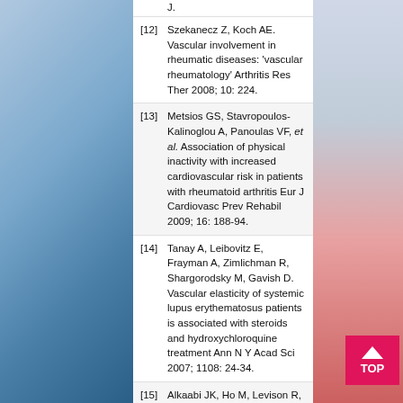[12] Szekanecz Z, Koch AE. Vascular involvement in rheumatic diseases: 'vascular rheumatology' Arthritis Res Ther 2008; 10: 224.
[13] Metsios GS, Stavropoulos-Kalinoglou A, Panoulas VF, et al. Association of physical inactivity with increased cardiovascular risk in patients with rheumatoid arthritis Eur J Cardiovasc Prev Rehabil 2009; 16: 188-94.
[14] Tanay A, Leibovitz E, Frayman A, Zimlichman R, Shargorodsky M, Gavish D. Vascular elasticity of systemic lupus erythematosus patients is associated with steroids and hydroxychloroquine treatment Ann N Y Acad Sci 2007; 1108: 24-34.
[15] Alkaabi JK, Ho M, Levison R, Pullar T, Belch JJ. Rheumatoid arthritis and macrovascular disease Rheumatology (Oxford) 2003; 42: 292-7.
[16] Doria A, Shoenfeld Y, Wu R, et al. Risk factors for subclinical atherosclerosis in a prospective cohort of patients with systemic lupus erythematosus Ann...